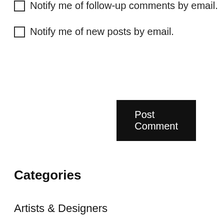Notify me of follow-up comments by email.
Notify me of new posts by email.
Post Comment
Categories
Artists & Designers